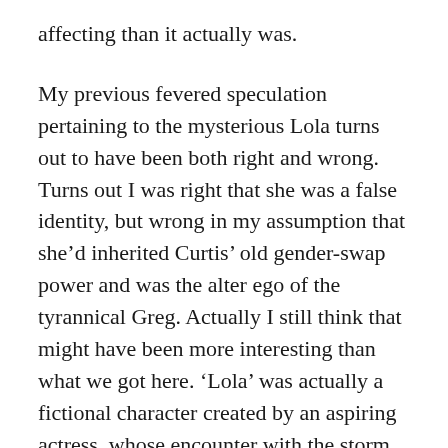affecting than it actually was.
My previous fevered speculation pertaining to the mysterious Lola turns out to have been both right and wrong. Turns out I was right that she was a false identity, but wrong in my assumption that she'd inherited Curtis' old gender-swap power and was the alter ego of the tyrannical Greg. Actually I still think that might have been more interesting than what we got here. 'Lola' was actually a fictional character created by an aspiring actress, whose encounter with the storm gave her the 'power' to remain in character – permanently. Which was a bit of a problem, given that her character was a femme fatale who uses and manipulates